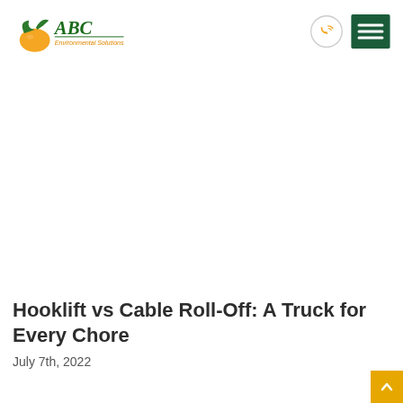[Figure (logo): ABC Environmental Solutions logo with orange fruit and green leaf/text]
[Figure (illustration): Phone icon in orange circle (call button)]
[Figure (illustration): Green hamburger menu icon (three horizontal lines on dark green background)]
Hooklift vs Cable Roll-Off: A Truck for Every Chore
July 7th, 2022